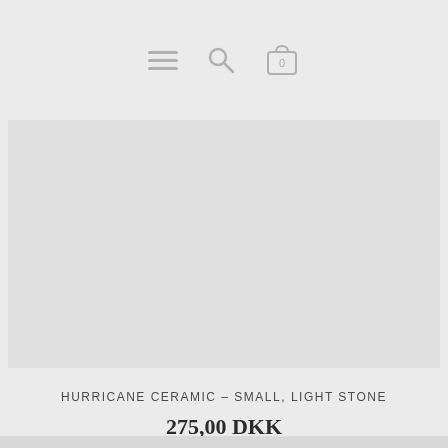Navigation bar with menu, search, and cart icons
[Figure (photo): Product image placeholder — light gray rectangle representing the product photo area for Hurricane Ceramic candle holder]
HURRICANE CERAMIC – SMALL, LIGHT STONE
275,00 DKK